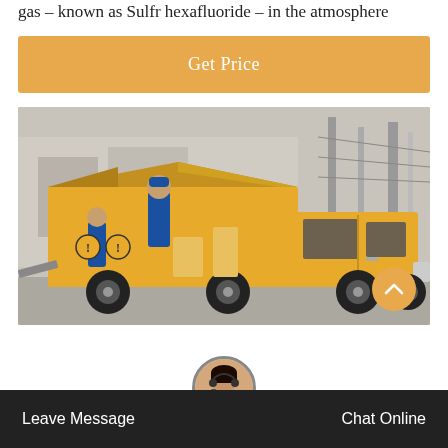gas – known as Sulfr hexafluoride – in the atmosphere
[Figure (other): Orange 'Get Price' button banner]
[Figure (photo): Yellow utility truck with workers in blue overalls loading equipment at an electrical substation]
Leave Message   Chat Online